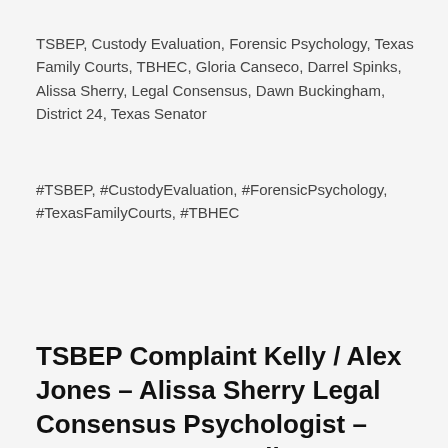TSBEP, Custody Evaluation, Forensic Psychology, Texas Family Courts, TBHEC, Gloria Canseco, Darrel Spinks, Alissa Sherry, Legal Consensus, Dawn Buckingham, District 24, Texas Senator
#TSBEP, #CustodyEvaluation, #ForensicPsychology, #TexasFamilyCourts, #TBHEC
TSBEP Complaint Kelly / Alex Jones – Alissa Sherry Legal Consensus Psychologist – TBHEC Texas Family